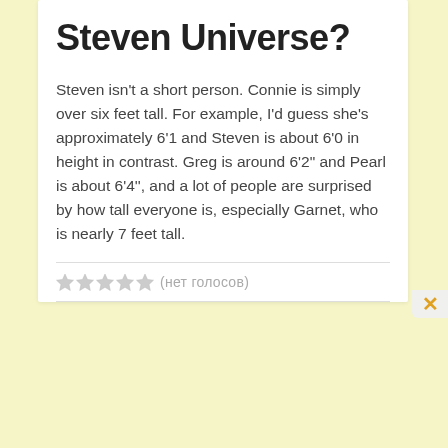Steven Universe?
Steven isn't a short person. Connie is simply over six feet tall. For example, I'd guess she's approximately 6'1 and Steven is about 6'0 in height in contrast. Greg is around 6'2" and Pearl is about 6'4'', and a lot of people are surprised by how tall everyone is, especially Garnet, who is nearly 7 feet tall.
(нет голосов)